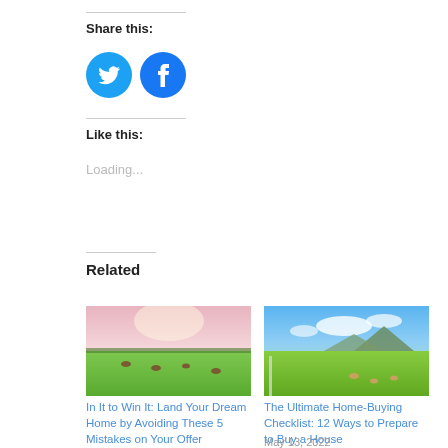Share this:
[Figure (illustration): Twitter and Facebook social sharing buttons as blue circles with white icons]
Like this:
Loading...
Related
[Figure (photo): Green field with grazing animals under a pink-hued sky]
In It to Win It: Land Your Dream Home by Avoiding These 5 Mistakes on Your Offer
[Figure (photo): Green meadow with animals, blue sky and mountain in background]
The Ultimate Home-Buying Checklist: 12 Ways to Prepare to Buy a House
May 13, 2022